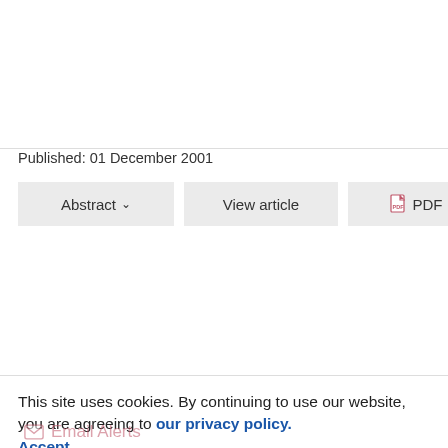Published: 01 December 2001
Abstract ∨   View article   PDF
This site uses cookies. By continuing to use our website, you are agreeing to our privacy policy. Accept
Email Alerts